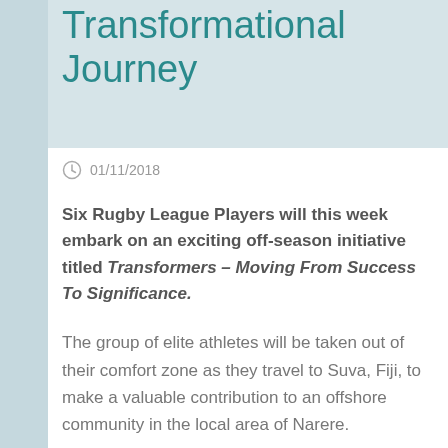Transformational Journey
01/11/2018
Six Rugby League Players will this week embark on an exciting off-season initiative titled Transformers – Moving From Success To Significance.
The group of elite athletes will be taken out of their comfort zone as they travel to Suva, Fiji, to make a valuable contribution to an offshore community in the local area of Narere.
The Transformers program is a the first of its kind, uniquely blending sport with personal transformation and community